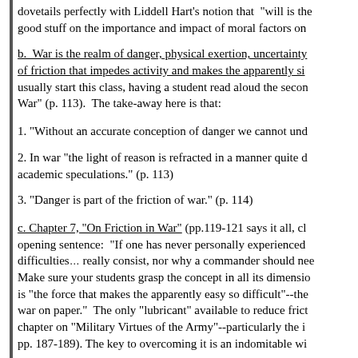dovetails perfectly with Liddell Hart's notion that "will is the good stuff on the importance and impact of moral factors on
b.  War is the realm of danger, physical exertion, uncertainty, of friction that impedes activity and makes the apparently si usually start this class, having a student read aloud the secon War" (p. 113).  The take-away here is that:
1. "Without an accurate conception of danger we cannot und
2. In war "the light of reason is refracted in a manner quite d academic speculations." (p. 113)
3. "Danger is part of the friction of war." (p. 114)
c. Chapter 7, "On Friction in War" (pp.119-121 says it all, cl opening sentence:  "If one has never personally experienced difficulties really consist, nor why a commander should nee Make sure your students grasp the concept in all its dimensio is "the force that makes the apparently easy so difficult"--the war on paper."  The only "lubricant" available to reduce frict chapter on "Military Virtues of the Army"--particularly the i pp. 187-189). The key to overcoming it is an indomitable wi
d. Intelligence is part of the friction in war.  My all time favo world-wide) is on p. 117:  "Many intelligence reports in war